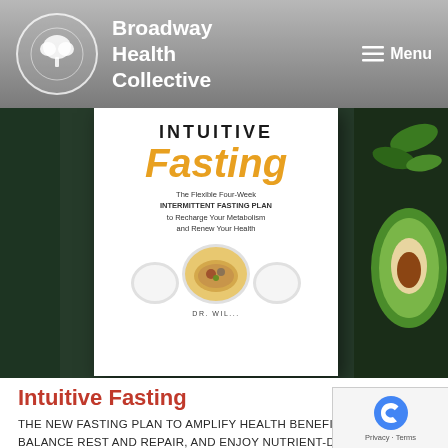Broadway Health Collective | Menu
[Figure (photo): Book cover of 'Intuitive Fasting' with subtitle 'The Flexible Four-Week Intermittent Fasting Plan to Recharge Your Metabolism and Renew Your Health' by DR. WIL... shown against dark green background with avocado and spinach leaves on the right side.]
Intuitive Fasting
THE NEW FASTING PLAN TO AMPLIFY HEALTH BENEFITS, BALANCE REST AND REPAIR, AND ENJOY NUTRIENT-DENSE, DELICIOUS...